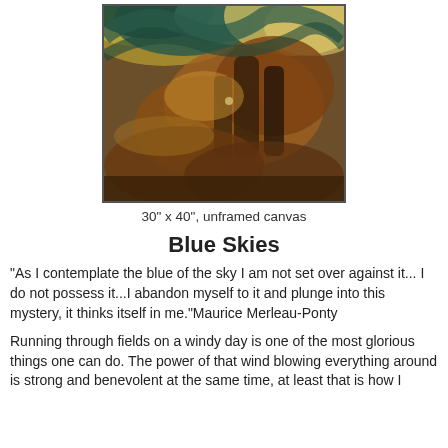[Figure (illustration): An impressionist-style oil painting depicting a windy field or landscape with swirling brushstrokes in greens, blues, oranges, browns, and yellows suggesting foliage and sky in motion.]
30" x 40", unframed canvas
Blue Skies
"As I contemplate the blue of the sky I am not set over against it... I do not possess it...I abandon myself to it and plunge into this mystery, it thinks itself in me."Maurice Merleau-Ponty
Running through fields on a windy day is one of the most glorious things one can do. The power of that wind blowing everything around is strong and benevolent at the same time, at least that is how I